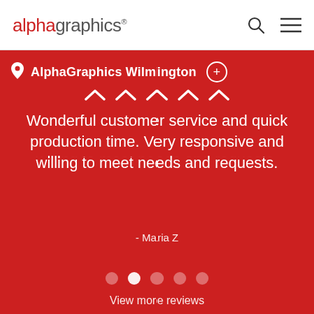alphagraphics
AlphaGraphics Wilmington
Wonderful customer service and quick production time. Very responsive and willing to meet needs and requests.
- Maria Z
View more reviews